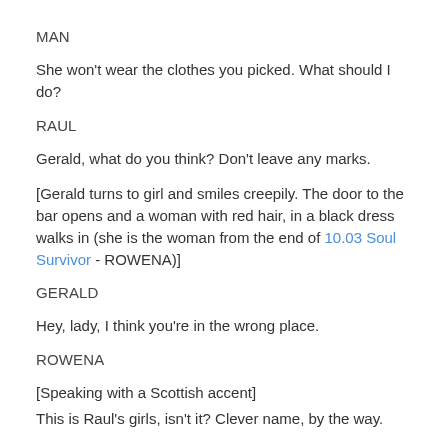MAN
She won't wear the clothes you picked. What should I do?
RAUL
Gerald, what do you think? Don't leave any marks.
[Gerald turns to girl and smiles creepily. The door to the bar opens and a woman with red hair, in a black dress walks in (she is the woman from the end of 10.03 Soul Survivor - ROWENA)]
GERALD
Hey, lady, I think you're in the wrong place.
ROWENA
[Speaking with a Scottish accent]
This is Raul's girls, isn't it? Clever name, by the way.
RAUL